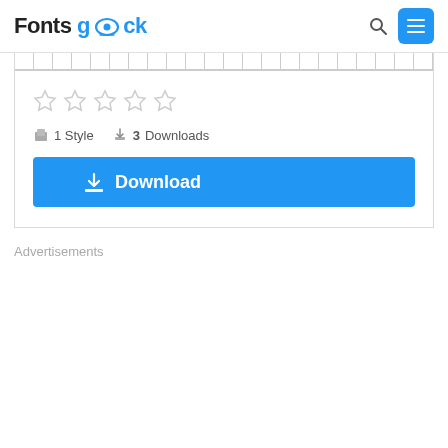FontsGeek
[Figure (other): Font character preview grid showing cells]
[Figure (other): Five empty star rating icons]
1 Style  3 Downloads
Download
Advertisements